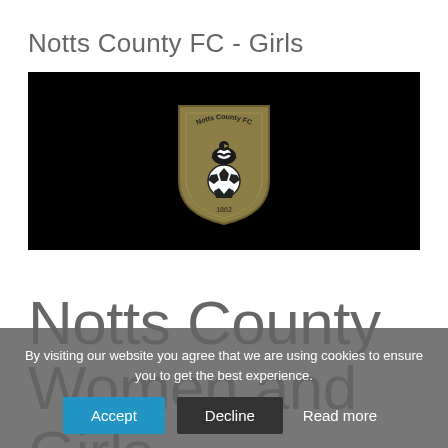Notts County FC - Girls
[Figure (logo): Black banner with Notts County FC badge/crest in centre — a shield shape in olive/tan with a magpie and football, text 'Notts County FC' around top]
Notts County Women and Girls Football Club
By visiting our website you agree that we are using cookies to ensure you to get the best experience.
Accept  Decline  Read more